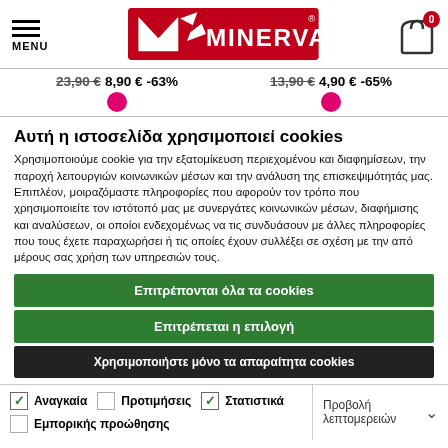MENU | MINERVA logo | Cart (0)
23,90 € 8,90 € -63%     13,90 € 4,90 € -65%
Αυτή η ιστοσελίδα χρησιμοποιεί cookies
Χρησιμοποιούμε cookie για την εξατομίκευση περιεχομένου και διαφημίσεων, την παροχή λειτουργιών κοινωνικών μέσων και την ανάλυση της επισκεψιμότητάς μας. Επιπλέον, μοιραζόμαστε πληροφορίες που αφορούν τον τρόπο που χρησιμοποιείτε τον ιστότοπό μας με συνεργάτες κοινωνικών μέσων, διαφήμισης και αναλύσεων, οι οποίοι ενδεχομένως να τις συνδυάσουν με άλλες πληροφορίες που τους έχετε παραχωρήσει ή τις οποίες έχουν συλλέξει σε σχέση με την από μέρους σας χρήση των υπηρεσιών τους.
Επιτρέπονται όλα τα cookies
Επιτρέπεται η επιλογή
Χρησιμοποιήστε μόνο τα απαραίτητα cookies
✓ Αναγκαία   □ Προτιμήσεις   ✓ Στατιστικά   □ Εμπορικής προώθησης   Προβολή λεπτομερειών